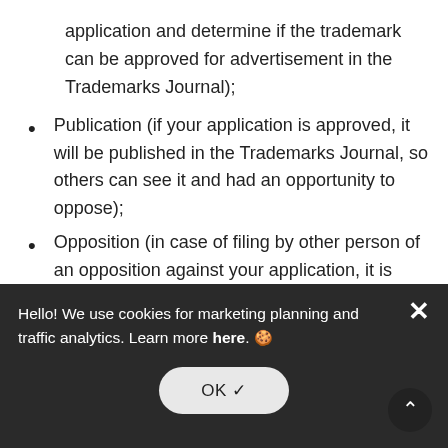application and determine if the trademark can be approved for advertisement in the Trademarks Journal);
Publication (if your application is approved, it will be published in the Trademarks Journal, so others can see it and had an opportunity to oppose);
Opposition (in case of filing by other person of an opposition against your application, it is necessary to file a counter statement with substantiation of the groundlessness of such objections);
Registration (a certificate of registration issuance).
Hello! We use cookies for marketing planning and traffic analytics. Learn more here. 🍪